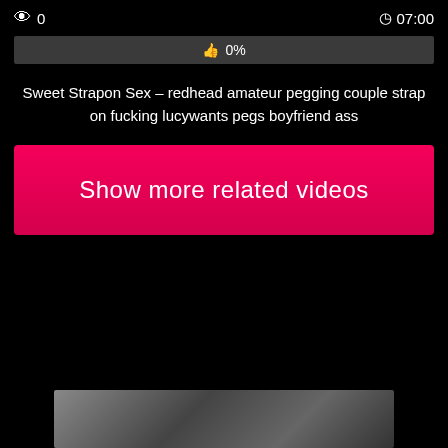👁 0   ⏱07:00
👍 0%
Sweet Strapon Sex – redhead amateur pegging couple strap on fucking lucywants pegs boyfriend ass
Show more related videos
[Figure (photo): Thumbnail strip at the bottom of the page showing video preview images]